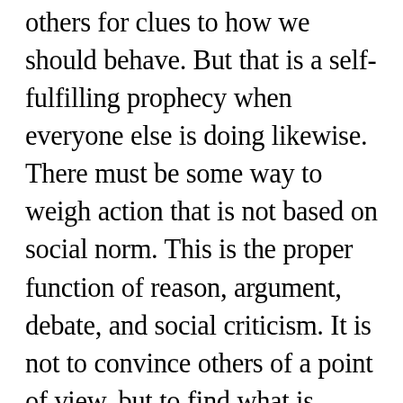others for clues to how we should behave. But that is a self-fulfilling prophecy when everyone else is doing likewise. There must be some way to weigh action that is not based on social norm. This is the proper function of reason, argument, debate, and social criticism. It is not to convince others of a point of view, but to find what is wrong with a point of view (no matter how good-sounding) and hopefully set it right. In particular, it should reveal how one intention can be inconsistent with another intention that lurks at its core, just as the whole structure of the brain b...